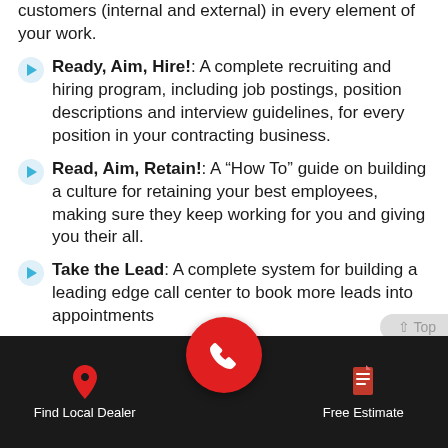customers (internal and external) in every element of your work.
Ready, Aim, Hire!: A complete recruiting and hiring program, including job postings, position descriptions and interview guidelines, for every position in your contracting business.
Read, Aim, Retain!: A “How To” guide on building a culture for retaining your best employees, making sure they keep working for you and giving you their all.
Take the Lead: A complete system for building a leading edge call center to book more leads into appointments
Management Training Program: 3-day
Find Local Dealer | [phone] | Free Estimate